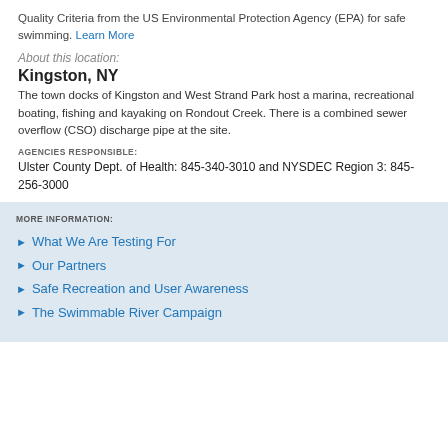Quality Criteria from the US Environmental Protection Agency (EPA) for safe swimming. Learn More
About this location:
Kingston, NY
The town docks of Kingston and West Strand Park host a marina, recreational boating, fishing and kayaking on Rondout Creek. There is a combined sewer overflow (CSO) discharge pipe at the site.
AGENCIES RESPONSIBLE:
Ulster County Dept. of Health: 845-340-3010 and NYSDEC Region 3: 845-256-3000
MORE INFORMATION:
What We Are Testing For
Our Partners
Safe Recreation and User Awareness
The Swimmable River Campaign